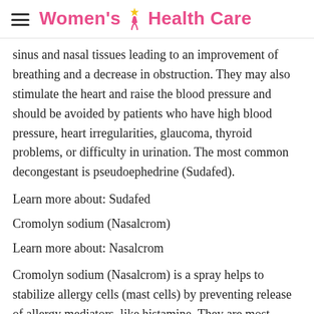Women's Health Care
sinus and nasal tissues leading to an improvement of breathing and a decrease in obstruction. They may also stimulate the heart and raise the blood pressure and should be avoided by patients who have high blood pressure, heart irregularities, glaucoma, thyroid problems, or difficulty in urination. The most common decongestant is pseudoephedrine (Sudafed).
Learn more about: Sudafed
Cromolyn sodium (Nasalcrom)
Learn more about: Nasalcrom
Cromolyn sodium (Nasalcrom) is a spray helps to stabilize allergy cells (mast cells) by preventing release of allergy mediators, like histamine. They are most effective if used before the start of allergy